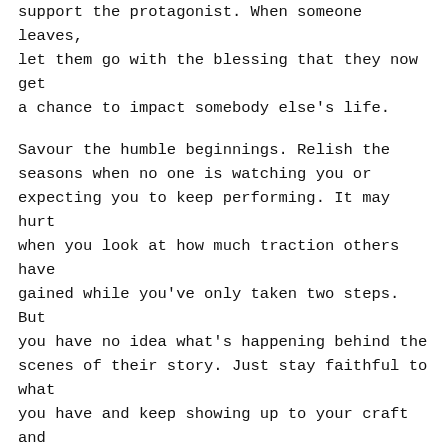support the protagonist. When someone leaves, let them go with the blessing that they now get a chance to impact somebody else's life.
Savour the humble beginnings. Relish the seasons when no one is watching you or expecting you to keep performing. It may hurt when you look at how much traction others have gained while you've only taken two steps. But you have no idea what's happening behind the scenes of their story. Just stay faithful to what you have and keep showing up to your craft and your journey. The rest will fall into place.
Stop finding reasons to run away. One day, the thing you've been waiting for will grace your doorstep. For once, it'll be nearly everything you've asked for, and it'll be so unexpected that it may take a while for your feelings to catch up. You deserve it and time will be its kindest face.